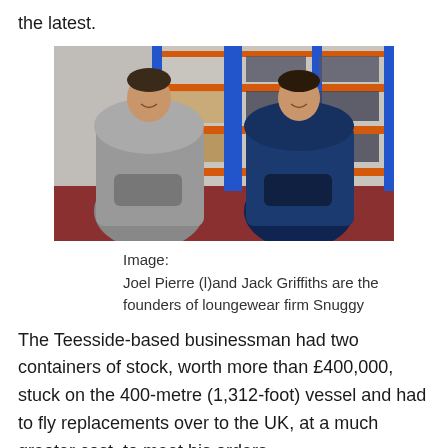the latest.
[Figure (photo): Two men standing in a warehouse with orange metal shelving units. The man on the left wears a gray oversized hoodie/loungewear. The man on the right wears a navy blue oversized hoodie/loungewear. Storage boxes and bins are visible on the shelves behind them.]
Image:
Joel Pierre (l)and Jack Griffiths are the founders of loungewear firm Snuggy
The Teesside-based businessman had two containers of stock, worth more than £400,000, stuck on the 400-metre (1,312-foot) vessel and had to fly replacements over to the UK, at a much greater cost, to meet his orders.